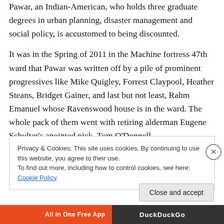Pawar, an Indian-American, who holds three graduate degrees in urban planning, disaster management and social policy, is accustomed to being discounted.
It was in the Spring of 2011 in the Machine fortress 47th ward that Pawar was written off by a pile of prominent progressives like Mike Quigley, Forrest Claypool, Heather Steans, Bridget Gainer, and last but not least, Rahm Emanuel whose Ravenswood house is in the ward. The whole pack of them went with retiring alderman Eugene Schulter's anointed pick, Tom O'Donnell.
Privacy & Cookies: This site uses cookies. By continuing to use this website, you agree to their use. To find out more, including how to control cookies, see here: Cookie Policy
Close and accept